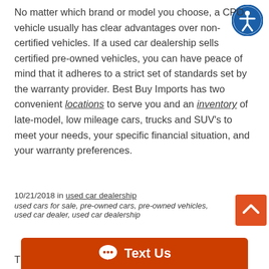No matter which brand or model you choose, a CPO vehicle usually has clear advantages over non-certified vehicles. If a used car dealership sells certified pre-owned vehicles, you can have peace of mind that it adheres to a strict set of standards set by the warranty provider. Best Buy Imports has two convenient locations to serve you and an inventory of late-model, low mileage cars, trucks and SUV's to meet your needs, your specific financial situation, and your warranty preferences.
10/21/2018 in used car dealership
used cars for sale, pre-owned cars, pre-owned vehicles, used car dealer, used car dealership
Th
[Figure (other): Blue circular accessibility icon with person figure in white, top right corner]
[Figure (other): Orange scroll-to-top button with white upward chevron arrow]
[Figure (other): Orange 'Text Us' chat banner at bottom of page with chat bubble icon and white text]